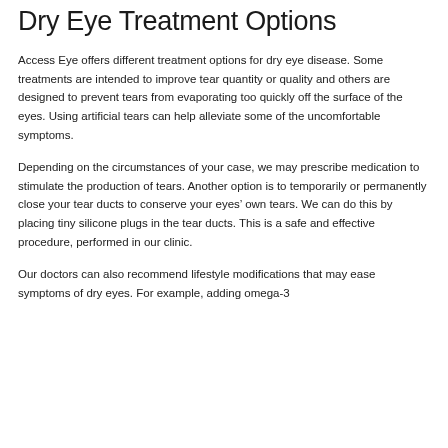Dry Eye Treatment Options
Access Eye offers different treatment options for dry eye disease. Some treatments are intended to improve tear quantity or quality and others are designed to prevent tears from evaporating too quickly off the surface of the eyes. Using artificial tears can help alleviate some of the uncomfortable symptoms.
Depending on the circumstances of your case, we may prescribe medication to stimulate the production of tears. Another option is to temporarily or permanently close your tear ducts to conserve your eyes’ own tears. We can do this by placing tiny silicone plugs in the tear ducts. This is a safe and effective procedure, performed in our clinic.
Our doctors can also recommend lifestyle modifications that may ease symptoms of dry eyes. For example, adding omega-3